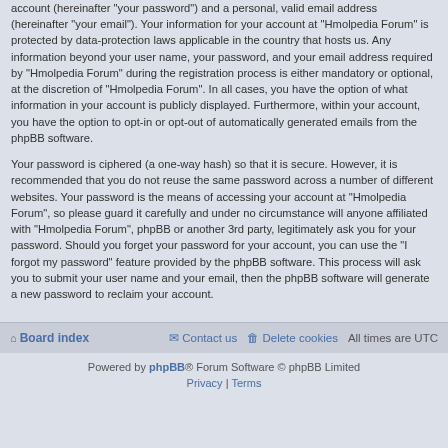account (hereinafter “your password”) and a personal, valid email address (hereinafter “your email”). Your information for your account at “Hmolpedia Forum” is protected by data-protection laws applicable in the country that hosts us. Any information beyond your user name, your password, and your email address required by “Hmolpedia Forum” during the registration process is either mandatory or optional, at the discretion of “Hmolpedia Forum”. In all cases, you have the option of what information in your account is publicly displayed. Furthermore, within your account, you have the option to opt-in or opt-out of automatically generated emails from the phpBB software.
Your password is ciphered (a one-way hash) so that it is secure. However, it is recommended that you do not reuse the same password across a number of different websites. Your password is the means of accessing your account at “Hmolpedia Forum”, so please guard it carefully and under no circumstance will anyone affiliated with “Hmolpedia Forum”, phpBB or another 3rd party, legitimately ask you for your password. Should you forget your password for your account, you can use the “I forgot my password” feature provided by the phpBB software. This process will ask you to submit your user name and your email, then the phpBB software will generate a new password to reclaim your account.
Board index  Contact us  Delete cookies  All times are UTC
Powered by phpBB® Forum Software © phpBB Limited Privacy | Terms